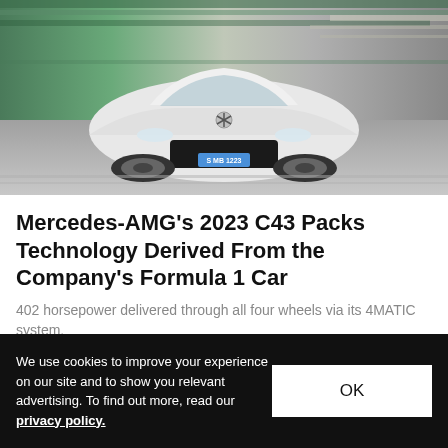[Figure (photo): White Mercedes-AMG C43 sedan driving on a racetrack with motion blur background]
Mercedes-AMG's 2023 C43 Packs Technology Derived From the Company's Formula 1 Car
402 horsepower delivered through all four wheels via its 4MATIC system.
Automotive  Apr 28, 2022  🔥 5.8K  💬 2
We use cookies to improve your experience on our site and to show you relevant advertising. To find out more, read our privacy policy.